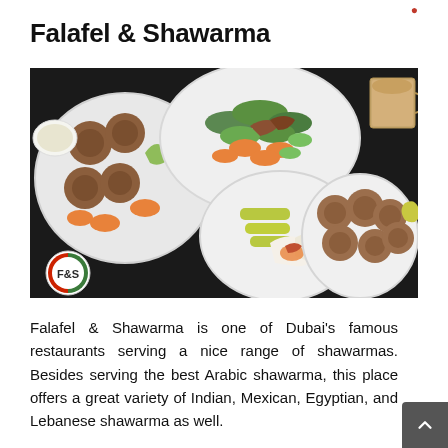Falafel & Shawarma
[Figure (photo): Overhead shot of several white plates on a dark table filled with falafel balls, a wrapped shawarma, salad with carrots and cucumbers, pickled peppers, and a frothy drink. An F&S logo is visible in the bottom-left corner.]
Falafel & Shawarma is one of Dubai's famous restaurants serving a nice range of shawarmas. Besides serving the best Arabic shawarma, this place offers a great variety of Indian, Mexican, Egyptian, and Lebanese shawarma as well.